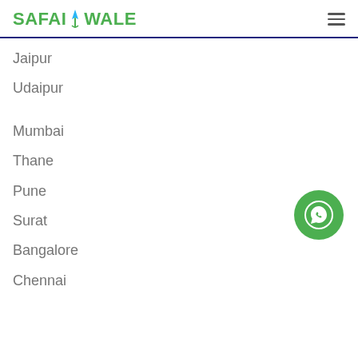SAFAIWALE
Jaipur
Udaipur
Mumbai
Thane
Pune
Surat
Bangalore
Chennai
[Figure (illustration): WhatsApp floating action button — green circle with white WhatsApp speech bubble icon]